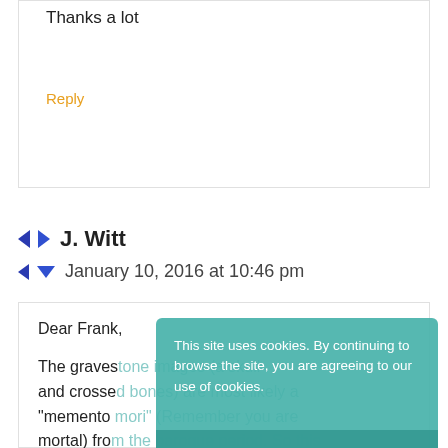Thanks a lot
Reply
J. Witt
January 10, 2016 at 10:46 pm
Dear Frank,
The gravestone images (a skull and crossbones) are most likely a "memento mori" (Remember you are mortal) from the baroque period. So this message is adressed to the contemporary
[Figure (screenshot): Cookie consent overlay with teal background reading: 'This site uses cookies. By continuing to browse the site, you are agreeing to our use of cookies.' with an 'I accept!' button.]